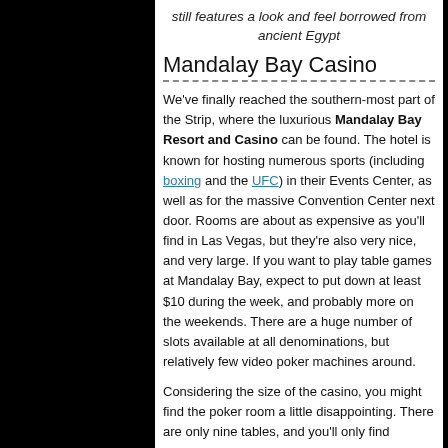still features a look and feel borrowed from ancient Egypt
Mandalay Bay Casino
We've finally reached the southern-most part of the Strip, where the luxurious Mandalay Bay Resort and Casino can be found. The hotel is known for hosting numerous sports (including boxing and the UFC) in their Events Center, as well as for the massive Convention Center next door. Rooms are about as expensive as you'll find in Las Vegas, but they're also very nice, and very large. If you want to play table games at Mandalay Bay, expect to put down at least $10 during the week, and probably more on the weekends. There are a huge number of slots available at all denominations, but relatively few video poker machines around.
Considering the size of the casino, you might find the poker room a little disappointing. There are only nine tables, and you'll only find...